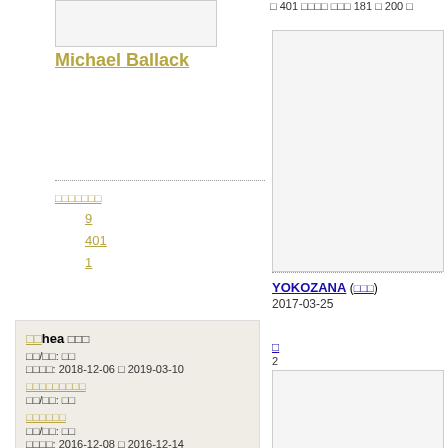[Figure (photo): Image box top left, white/grey placeholder]
Michael Ballack
dotted separator line
[link] 9 401 1
□□hea □□□
□□/□□: □□
□□□□: 2018-12-06 □ 2019-03-10
[link]
□□/□□: □□
[link]
□□/□□: □□
□□□□: 2016-12-08 □ 2016-12-14
□□□□(□□, □□)
□ 401 □□□□ □□□ 181 □ 200 □
[Figure (photo): Image box right upper, white/grey placeholder]
dotted separator right
YOKOZANA (□□□)
2017-03-25
□
2
[Figure (photo): Image box right lower, white/grey placeholder]